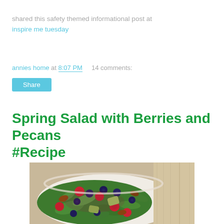shared this safety themed informational post at inspire me tuesday
annies home at 8:07 PM    14 comments:
Share
Spring Salad with Berries and Pecans #Recipe
[Figure (photo): A bowl of spring salad with blueberries, raspberries, spinach leaves, pecans, and avocado pieces, served on a plate with rustic cloth in background.]